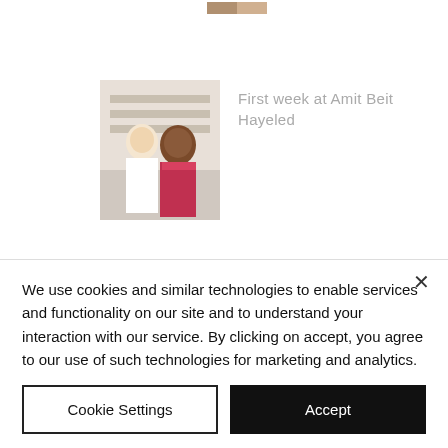[Figure (photo): Partial thumbnail image at top of page, cropped]
[Figure (photo): Thumbnail photo of two people embracing, associated with article 'First week at Amit Beit Hayeled']
First week at Amit Beit Hayeled
[Figure (photo): Thumbnail photo of colorful group scene, associated with article 'Neve Wrap Up - Final Musings']
Neve Wrap Up - Final Musings
We use cookies and similar technologies to enable services and functionality on our site and to understand your interaction with our service. By clicking on accept, you agree to our use of such technologies for marketing and analytics.
Cookie Settings
Accept